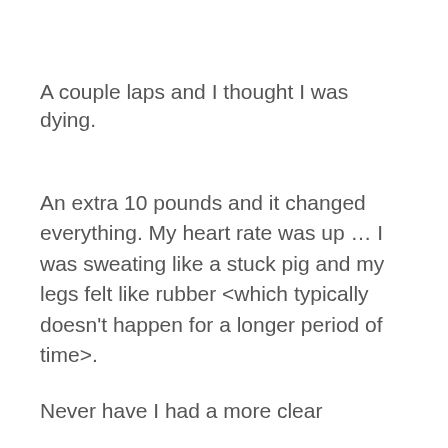A couple laps and I thought I was dying.
An extra 10 pounds and it changed everything. My heart rate was up … I was sweating like a stuck pig and my legs felt like rubber <which typically doesn't happen for a longer period of time>.
Never have I had a more clear